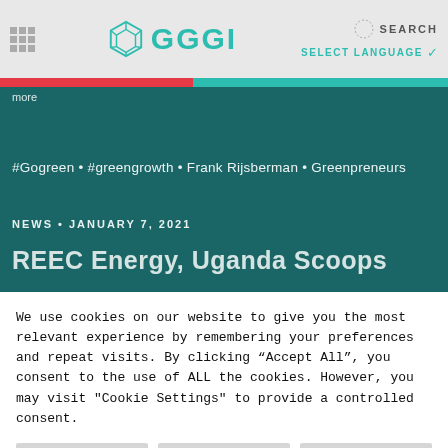transcendence!
[Figure (logo): GGGI logo with cube icon and teal text]
SEARCH
SELECT LANGUAGE
more
#Gogreen • #greengrowth • Frank Rijsberman • Greenpreneurs
NEWS • JANUARY 7, 2021
REEC Energy, Uganda Scoops
We use cookies on our website to give you the most relevant experience by remembering your preferences and repeat visits. By clicking "Accept All", you consent to the use of ALL the cookies. However, you may visit "Cookie Settings" to provide a controlled consent.
Cookie Settings
Accept All
Reject All